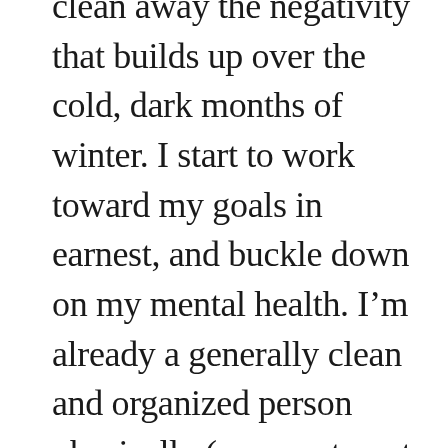clean away the negativity that builds up over the cold, dark months of winter. I start to work toward my goals in earnest, and buckle down on my mental health. I'm already a generally clean and organized person physically (my apartment is practically spotless) so the kind of spring cleaning I do is more metaphorical. I organize my mind, and make plans to reach my